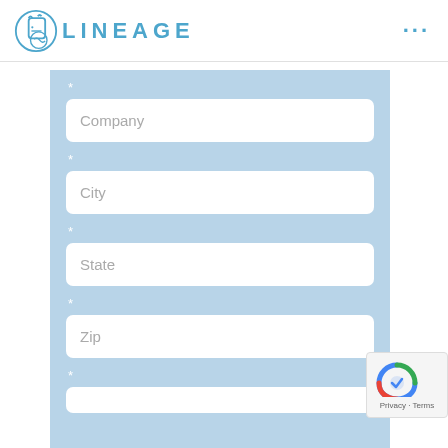LINEAGE
* Company
* City
* State
* Zip
*